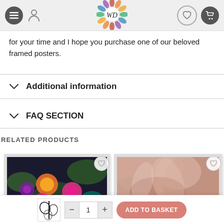[Figure (screenshot): Website header navigation bar with hamburger menu icon, user profile icon, decorative floral WD logo in center, heart/wishlist icon, and shopping cart icon]
for your time and I hope you purchase one of our beloved framed posters.
Additional information
FAQ SECTION
RELATED PRODUCTS
[Figure (photo): Framed poster product image showing colorful vibrant flowers (peonies) in pink, orange, purple against dark background, in silver frame. Has heart/wishlist button overlay.]
[Figure (photo): Framed poster product image showing rose gold / pink abstract flower petals texture, in silver frame. Has heart/wishlist button overlay.]
[Figure (screenshot): Bottom add-to-basket bar with small product thumbnail, quantity selector (minus, 1, plus), and coral/salmon ADD TO BASKET button]